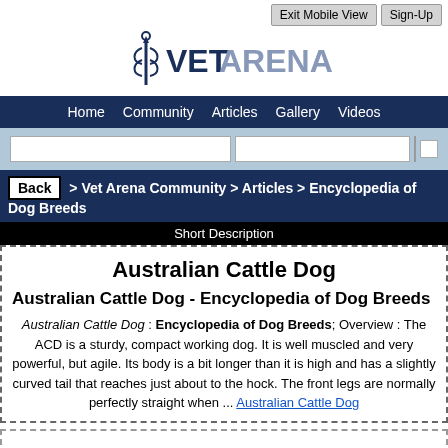Exit Mobile View  Sign-Up
[Figure (logo): VetArena logo with caduceus symbol and text VETARENA]
Home  Community  Articles  Gallery  Videos
Back > Vet Arena Community > Articles > Encyclopedia of Dog Breeds
Short Description
Australian Cattle Dog
Australian Cattle Dog - Encyclopedia of Dog Breeds
Australian Cattle Dog : Encyclopedia of Dog Breeds; Overview : The ACD is a sturdy, compact working dog. It is well muscled and very powerful, but agile. Its body is a bit longer than it is high and has a slightly curved tail that reaches just about to the hock. The front legs are normally perfectly straight when ... Australian Cattle Dog
Australian Cattle Dog Dog Breed  Australian Cattle Dog